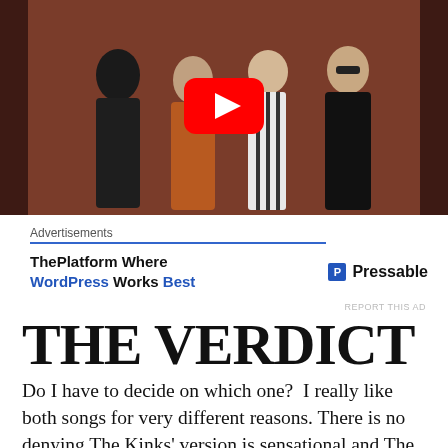[Figure (screenshot): YouTube video thumbnail showing four band members posing against a dark brownish-red background, with a YouTube play button overlay in the center.]
Advertisements
[Figure (other): Advertisement: ThePlatform Where WordPress Works Best — Pressable]
REPORT THIS AD
THE VERDICT
Do I have to decide on which one?  I really like both songs for very different reasons. There is no denying The Kinks' version is sensational and The Prentenders'